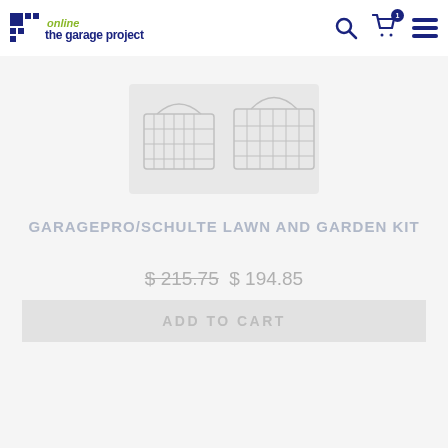the online garage project — navigation header with search, cart, and menu icons
[Figure (photo): Product photo of wire storage baskets for lawn and garden use, shown on a white/light grey background]
GARAGEPRO/SCHULTE LAWN AND GARDEN KIT
$ 215.75 $ 194.85
ADD TO CART